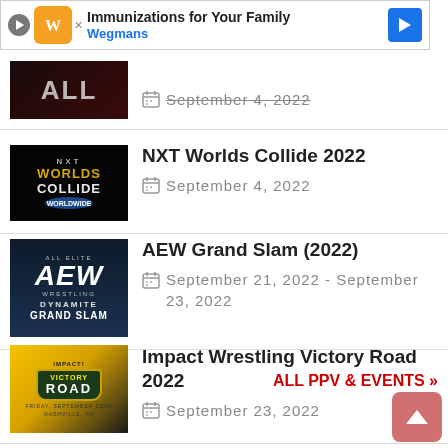[Figure (screenshot): Advertisement banner: Immunizations for Your Family - Wegmans]
[Figure (screenshot): Partial event thumbnail showing ALL letters on dark background]
September 4, 2022
[Figure (photo): NXT Worlds Collide logo on black background]
NXT Worlds Collide 2022
September 4, 2022
[Figure (photo): AEW Dynamite Grand Slam logo on dark blue background]
AEW Grand Slam (2022)
September 21, 2022 - September 23, 2022
[Figure (photo): Impact Wrestling Victory Road 2022 poster with yellow and black design]
Impact Wrestling Victory Road 2022
September 23, 2022
ALL PPV & EVENTS »